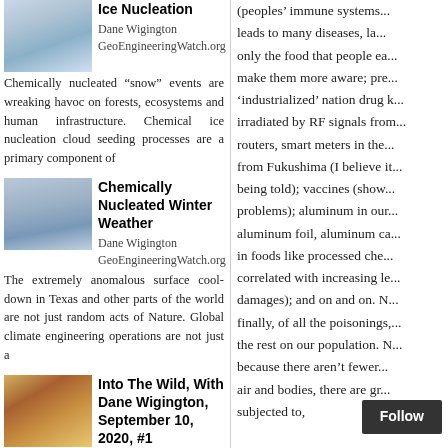Ice Nucleation
Dane Wigington GeoEngineeringWatch.org Chemically nucleated “snow” events are wreaking havoc on forests, ecosystems and human infrastructure. Chemical ice nucleation cloud seeding processes are a primary component of
Chemically Nucleated Winter Weather
Dane Wigington GeoEngineeringWatch.org The extremely anomalous surface cool-down in Texas and other parts of the world are not just random acts of Nature. Global climate engineering operations are not just a
Into The Wild, With Dane Wigington, September 10, 2020, #1
Dane Wigington GeoEngineeringWatch.org How dire are conditions in our last remaining wilderness areas? What primary factors are fueling the record wildfires that are incinerating formerly
(peoples' immune systems... leads to many diseases, la... only the food that people ea... make them more aware; pre... 'industrialized' nation drug k... irradiated by RF signals from... routers, smart meters in the... from Fukushima (I believe it... being told); vaccines (show... problems); aluminum in our... aluminum foil, aluminum ca... in foods like processed che... correlated with increasing le... damages); and on and on. N... finally, of all the poisonings,... the rest on our population. N... because there aren't fewer... air and bodies, there are gr... subjected to,